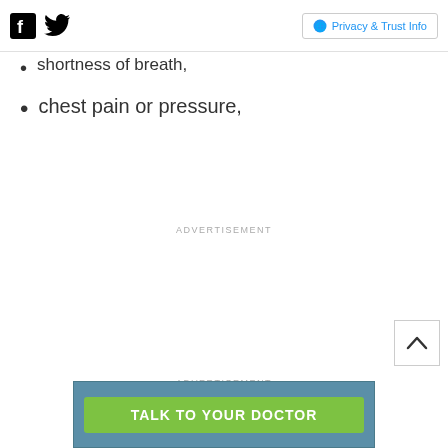Social icons (Facebook, Twitter) | Privacy & Trust Info
shortness of breath,
chest pain or pressure,
ADVERTISEMENT
ADVERTISEMENT
[Figure (other): Back to top arrow button]
[Figure (other): Talk to your doctor advertisement banner button with green button on teal background]